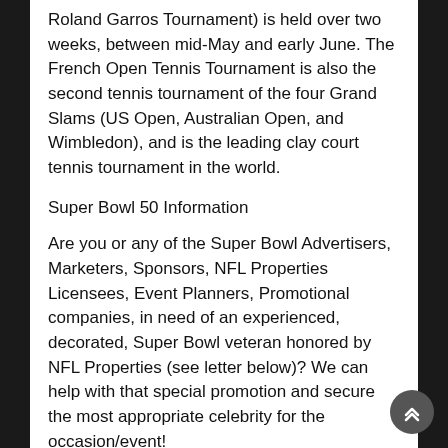Roland Garros Tournament) is held over two weeks, between mid-May and early June. The French Open Tennis Tournament is also the second tennis tournament of the four Grand Slams (US Open, Australian Open, and Wimbledon), and is the leading clay court tennis tournament in the world.
Super Bowl 50 Information
Are you or any of the Super Bowl Advertisers, Marketers, Sponsors, NFL Properties Licensees, Event Planners, Promotional companies, in need of an experienced, decorated, Super Bowl veteran honored by NFL Properties (see letter below)? We can help with that special promotion and secure the most appropriate celebrity for the occasion/event!
¿eX-whY? AdVentures is a Strategic and Tactical Planning corporation specializes in the areas of Marketing, Advertising, Promotions, Public Relations, Political Campaigns, Fundraising, Product Placement and Development, Electronic Multimedia, and Event Planning. ¿eX-whY? devises and implements